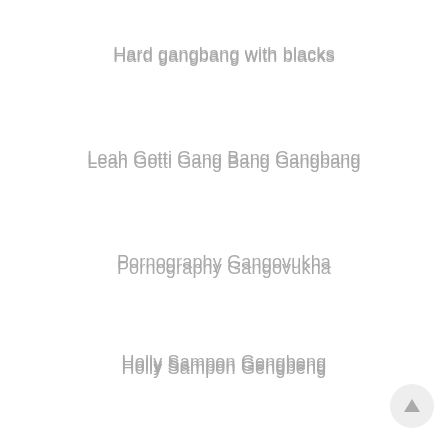Hard gangbang with blacks
Leah Gotti Gang Bang Gangbang
Pornography Gangovukha
Holly Sampon Gengbeng
Pornstar in group sex
Jesse Jane Hang Bang